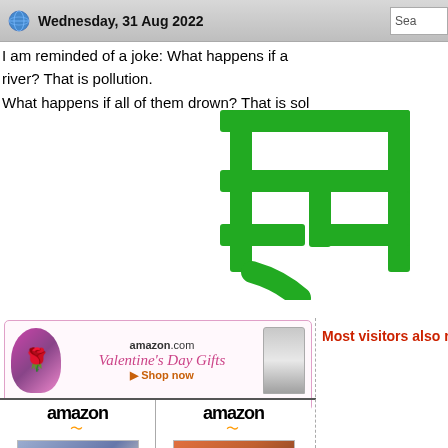Wednesday, 31 Aug 2022
I am reminded of a joke: What happens if a river? That is pollution.
What happens if all of them drown? That is sol
[Figure (illustration): Large green Chinese/Japanese character rendered in bold green strokes on white background]
[Figure (photo): Amazon.com Valentine's Day Gifts advertisement banner with perfume bottles and pink styling, with privacy label and Shop now link]
[Figure (screenshot): Two Amazon product boxes side by side - left shows a blue-toned product image, right shows an orange/brown landscape product image]
Most visitors also rea